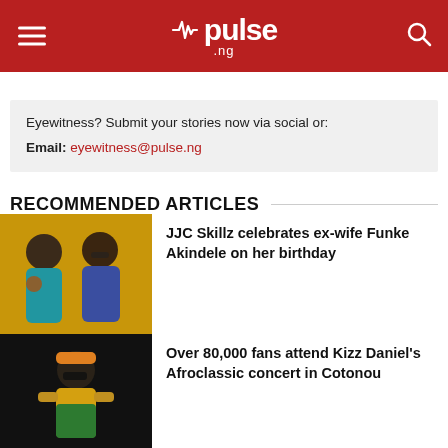pulse .ng
Eyewitness? Submit your stories now via social or:
Email: eyewitness@pulse.ng
RECOMMENDED ARTICLES
[Figure (photo): Photo of a woman in teal outfit and a man in blue suit, smiling, on a yellow background]
JJC Skillz celebrates ex-wife Funke Akindele on her birthday
[Figure (photo): Photo of a person wearing a cap and sunglasses, wearing a yellow and green outfit, dark background]
Over 80,000 fans attend Kizz Daniel's Afroclassic concert in Cotonou